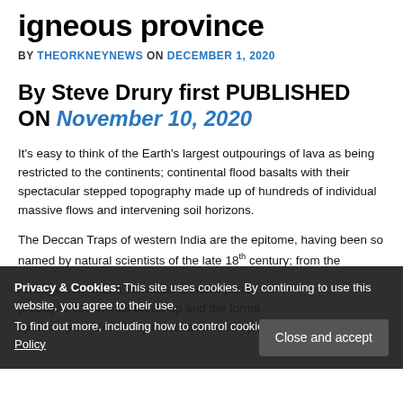igneous province
BY THEORKNEYNEWS ON DECEMBER 1, 2020
By Steve Drury first PUBLISHED ON November 10, 2020
It's easy to think of the Earth's largest outpourings of lava as being restricted to the continents; continental flood basalts with their spectacular stepped topography made up of hundreds of individual massive flows and intervening soil horizons.
The Deccan Traps of western India are the epitome, having been so named by natural scientists of the late 18th century; from the
All began life within individual tectonic plates ... presaged continental break-up and the forma... spreading centres. They must have been spectacular events, up to
Privacy & Cookies: This site uses cookies. By continuing to use this website, you agree to their use.
To find out more, including how to control cookies, see here: Our Cookie Policy